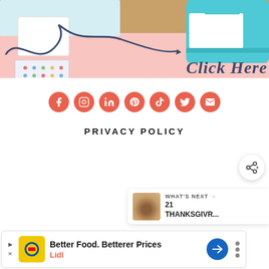[Figure (photo): Banner image showing a Cricut cutting machine in teal/turquoise color on a wooden surface with patterned paper and crafting supplies. Pink background at bottom with 'Click Here' text in dark navy script font with a decorative swirl.]
[Figure (infographic): Row of 7 coral/red circular social media icons: Facebook, Instagram, LinkedIn, Pinterest, TikTok, Twitter, Email]
PRIVACY POLICY
[Figure (other): Share button - circular white button with share icon]
WHAT'S NEXT → 21 THANKSGIVR...
[Figure (photo): Advertisement banner: Better Food. Betterer Prices - Lidl, with Lidl logo, navigation arrow icon, and audio/wave icon on the right]